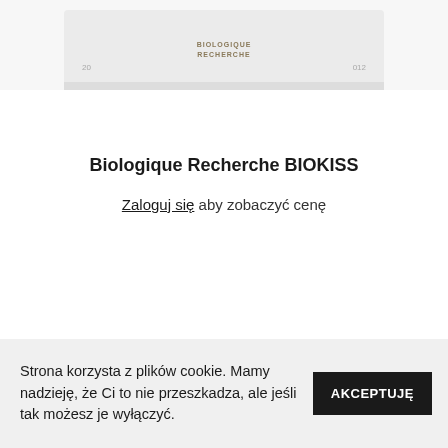[Figure (photo): Partial product image of Biologique Recherche cosmetic product, cropped at top, showing brand name text and product container on light gray background]
Biologique Recherche BIOKISS
Zaloguj się aby zobaczyć cenę
Strona korzysta z plików cookie. Mamy nadzieję, że Ci to nie przeszkadza, ale jeśli tak możesz je wyłączyć. AKCEPTUJĘ